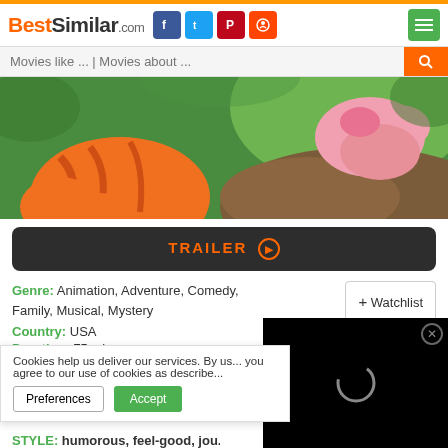BestSimilar.com — social icons: Facebook, Twitter, Pinterest, Reddit — menu button
Movies like ... | Movies about ...
[Figure (illustration): Cartoon movie banner showing animated tiger/Tigger character and pink character against green/brown background]
TRAILER ▶
Genre: Animation, Adventure, Comedy, Family, Musical, Mystery
+ Watchlist
Country: USA
Duration: 75 min.
Story: When the gang from the H... honey harvest, young Piglet is ex... allt...let...Poolin...fo...in...Pi...
Cookies help us deliver our services. By us... you agree to our use of cookies as describe...
Preferences | Accept
[Figure (screenshot): Black video overlay panel with loading spinner and close button]
Style: humorous, feel-good, jou...